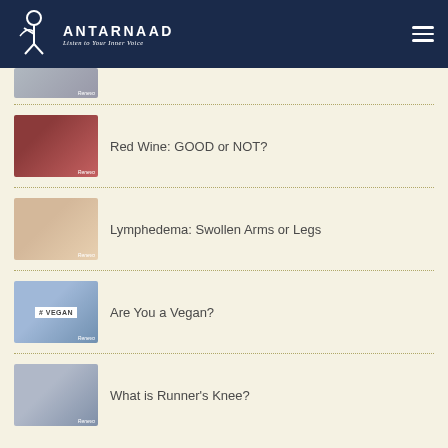ANTARNAAD — Listen to Your Inner Voice
[Figure (photo): Thumbnail image partially visible at top of list]
Red Wine: GOOD or NOT?
Lymphedema: Swollen Arms or Legs
Are You a Vegan?
What is Runner's Knee?